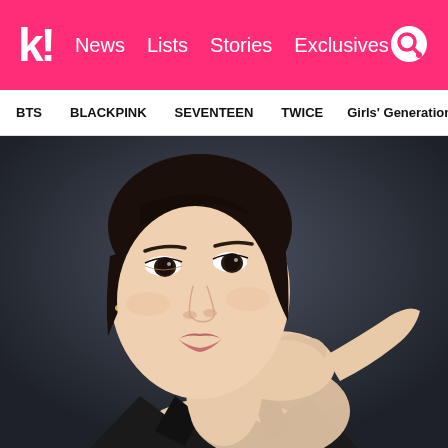k! News Lists Stories Exclusives
BTS  BLACKPINK  SEVENTEEN  TWICE  Girls' Generation
[Figure (photo): Close-up portrait photo of a young Asian woman with dark hair pulled back, wearing a black top, resting her chin/cheek on her hand, looking directly at camera with a neutral expression, dark background.]